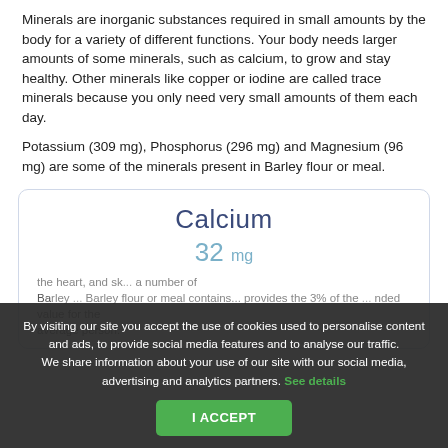Minerals are inorganic substances required in small amounts by the body for a variety of different functions. Your body needs larger amounts of some minerals, such as calcium, to grow and stay healthy. Other minerals like copper or iodine are called trace minerals because you only need very small amounts of them each day.
Potassium (309 mg), Phosphorus (296 mg) and Magnesium (96 mg) are some of the minerals present in Barley flour or meal.
Calcium
32 mg
the heart, and sk... a number of Barley... Barley flour or meal contains... provides the 3% of the ... nded value for the average person.
By visiting our site you accept the use of cookies used to personalise content and ads, to provide social media features and to analyse our traffic. We share information about your use of our site with our social media, advertising and analytics partners. See details